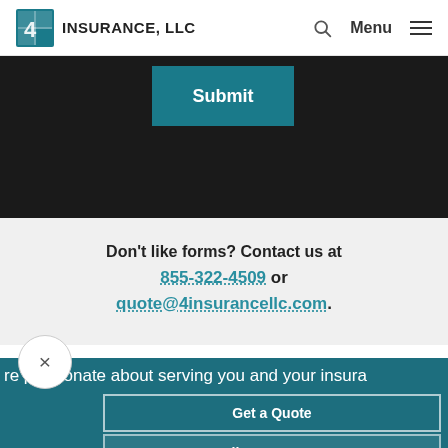4 INSURANCE, LLC  Menu
Submit
Don't like forms? Contact us at 855-322-4509 or quote@4insurancellc.com.
re passionate about serving you and your insura
Get a Quote
Call 855-322-4509